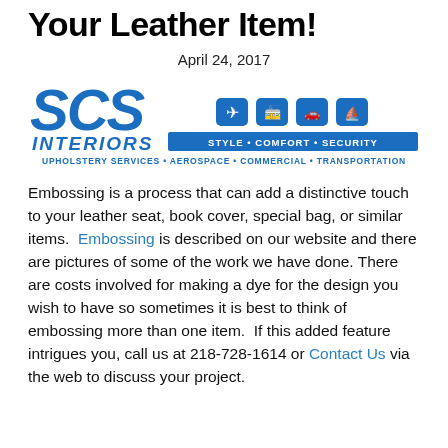Your Leather Item!
April 24, 2017
[Figure (logo): SCS Interiors logo with icons for aerospace, commercial, transportation. Tagline: Style • Comfort • Security. Subtext: Upholstery Services • Aerospace • Commercial • Transportation]
Embossing is a process that can add a distinctive touch to your leather seat, book cover, special bag, or similar items. Embossing is described on our website and there are pictures of some of the work we have done. There are costs involved for making a dye for the design you wish to have so sometimes it is best to think of embossing more than one item. If this added feature intrigues you, call us at 218-728-1614 or Contact Us via the web to discuss your project.